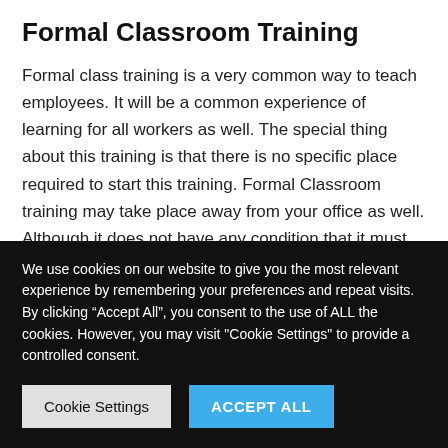Formal Classroom Training
Formal class training is a very common way to teach employees. It will be a common experience of learning for all workers as well. The special thing about this training is that there is no specific place required to start this training. Formal Classroom training may take place away from your office as well. Although it does not have any condition that it must be settled or started in office only. You can arrange a room (particular) for this training.
We use cookies on our website to give you the most relevant experience by remembering your preferences and repeat visits. By clicking “Accept All”, you consent to the use of ALL the cookies. However, you may visit "Cookie Settings" to provide a controlled consent.